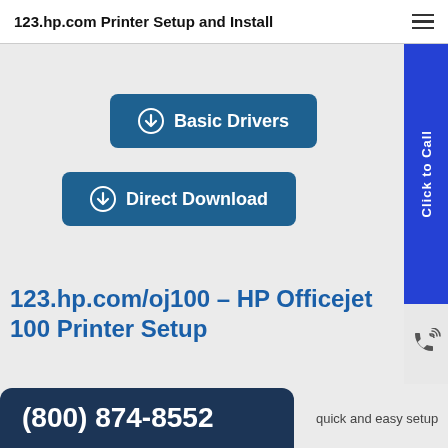123.hp.com Printer Setup and Install
[Figure (screenshot): Basic Drivers button - dark blue rounded rectangle button with download icon and text 'Basic Drivers']
[Figure (screenshot): Direct Download button - dark blue rounded rectangle button with download icon and text 'Direct Download']
[Figure (illustration): Vertical blue sidebar button with text 'Click to Call' rotated 90 degrees, and phone icon below on grey background]
123.hp.com/oj100 – HP Officejet 100 Printer Setup
HP Officejet 100 Setup
[Figure (screenshot): Dark navy phone bar with number (800) 874-8552]
quick and easy setup